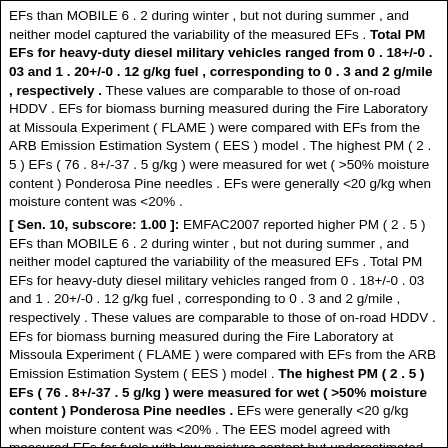EFs than MOBILE 6 . 2 during winter , but not during summer , and neither model captured the variability of the measured EFs . Total PM EFs for heavy-duty diesel military vehicles ranged from 0 . 18+/-0 . 03 and 1 . 20+/-0 . 12 g/kg fuel , corresponding to 0 . 3 and 2 g/mile , respectively . These values are comparable to those of on-road HDDV . EFs for biomass burning measured during the Fire Laboratory at Missoula Experiment ( FLAME ) were compared with EFs from the ARB Emission Estimation System ( EES ) model . The highest PM ( 2 . 5 ) EFs ( 76 . 8+/-37 . 5 g/kg ) were measured for wet ( >50% moisture content ) Ponderosa Pine needles . EFs were generally <20 g/kg when moisture content was <20% .
[ Sen. 10, subscore: 1.00 ]: EMFAC2007 reported higher PM ( 2 . 5 ) EFs than MOBILE 6 . 2 during winter , but not during summer , and neither model captured the variability of the measured EFs . Total PM EFs for heavy-duty diesel military vehicles ranged from 0 . 18+/-0 . 03 and 1 . 20+/-0 . 12 g/kg fuel , corresponding to 0 . 3 and 2 g/mile , respectively . These values are comparable to those of on-road HDDV . EFs for biomass burning measured during the Fire Laboratory at Missoula Experiment ( FLAME ) were compared with EFs from the ARB Emission Estimation System ( EES ) model . The highest PM ( 2 . 5 ) EFs ( 76 . 8+/-37 . 5 g/kg ) were measured for wet ( >50% moisture content ) Ponderosa Pine needles . EFs were generally <20 g/kg when moisture content was <20% . The EES model agreed with measured EFs for fuels with low moisture content but underestimated measured EFs for fuel with moisture content >40% . Average EFs for dry chamise , rice straw , and dry grass were within a factor of three of values adopted by ARB in Californias San Joaquin Valley ( SJV ) . Discrepancies between measured and modeled emission factors suggest that there may be important uncertainties in current PM ( 2 . 5 ) emission inventories .